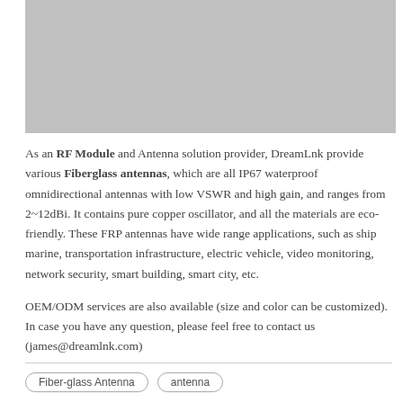[Figure (photo): Gray placeholder image at top of page, likely a product photo of a fiberglass antenna]
As an RF Module and Antenna solution provider, DreamLnk provide various Fiberglass antennas, which are all IP67 waterproof omnidirectional antennas with low VSWR and high gain, and ranges from 2~12dBi. It contains pure copper oscillator, and all the materials are eco-friendly. These FRP antennas have wide range applications, such as ship marine, transportation infrastructure, electric vehicle, video monitoring, network security, smart building, smart city, etc.
OEM/ODM services are also available (size and color can be customized). In case you have any question, please feel free to contact us (james@dreamlnk.com)
Fiber-glass Antenna
antenna